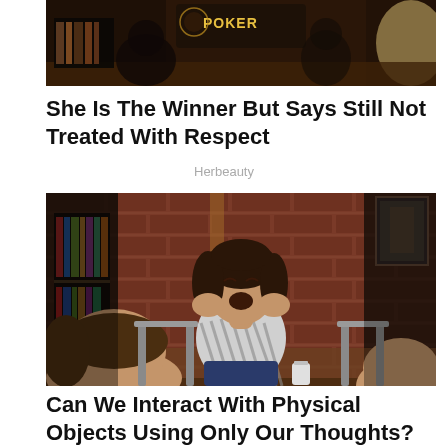[Figure (photo): Photo of a poker table scene with dim lighting and a poker sign visible]
She Is The Winner But Says Still Not Treated With Respect
Herbeauty
[Figure (photo): Photo of a woman screaming with hands on her face in a brick-walled room, with people seated around a table]
Can We Interact With Physical Objects Using Only Our Thoughts?